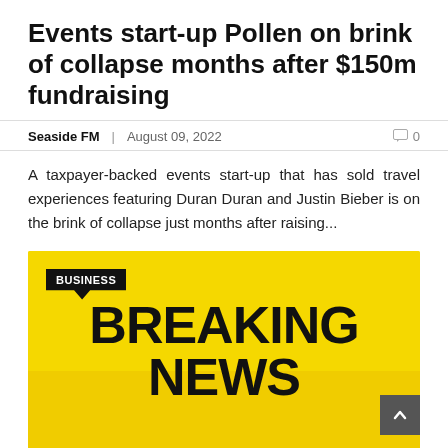Events start-up Pollen on brink of collapse months after $150m fundraising
Seaside FM | August 09, 2022   0
A taxpayer-backed events start-up that has sold travel experiences featuring Duran Duran and Justin Bieber is on the brink of collapse just months after raising...
[Figure (photo): Breaking News graphic on yellow background with a BUSINESS tag label in black at top left]